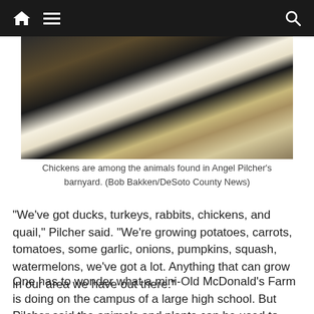Navigation bar with home, menu, and search icons
[Figure (photo): Close-up photo of a rooster/chicken with black and white feathers in a barnyard setting with hay and wire fencing visible]
Chickens are among the animals found in Angel Pilcher's barnyard. (Bob Bakken/DeSoto County News)
“We’ve got ducks, turkeys, rabbits, chickens, and quail,” Pilcher said. “We’re growing potatoes, carrots, tomatoes, some garlic, onions, pumpkins, squash, watermelons, we’ve got a lot. Anything that can grow in our area we have out there.”
One has to wonder what a mini-Old McDonald’s Farm is doing on the campus of a large high school. But Pilcher said the animals and plants can be used to teach several academic areas, all centered on